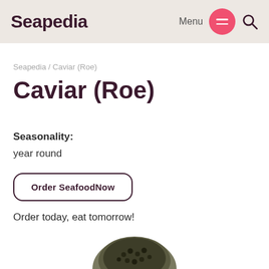Seapedia  Menu  🔍
Seapedia / Caviar (Roe)
Caviar (Roe)
Seasonality:
year round
Order SeafoodNow
Order today, eat tomorrow!
[Figure (photo): Partial top view of a tin/jar of caviar at the bottom of the page]